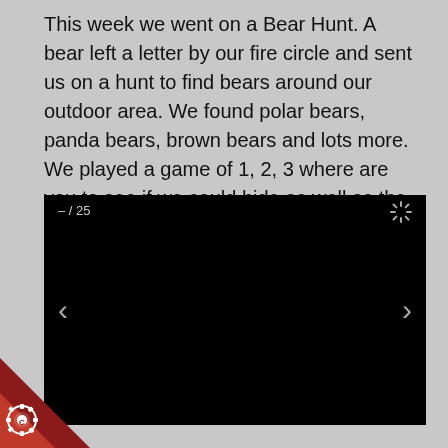This week we went on a Bear Hunt. A bear left a letter by our fire circle and sent us on a hunt to find bears around our outdoor area. We found polar bears, panda bears, brown bears and lots more. We played a game of 1, 2, 3 where are you to see if we could hide as well as the bears. In small groups we then used the bears to make caves for them using natural resources.
[Figure (screenshot): A black slideshow/image viewer widget showing slide counter '– / 25' in the top-left, a loading spinner icon in the top-right, a left chevron arrow on the left side, and a right chevron arrow on the right side. The main content area is solid black (image loading).]
[Figure (logo): A red triangular corner badge in the bottom-left corner with a white gear/cog icon labeled 'C'.]